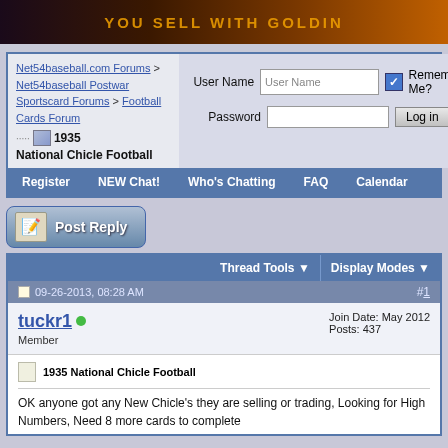[Figure (photo): Banner/advertisement with dark gradient background and golden text]
Net54baseball.com Forums > Net54baseball Postwar Sportscard Forums > Football Cards Forum > 1935 National Chicle Football
User Name, Password, Remember Me?, Log in
Register | NEW Chat! | Who's Chatting | FAQ | Calendar
[Figure (screenshot): Post Reply button]
Thread Tools | Display Modes
09-26-2013, 08:28 AM  #1
tuckr1 (online) Member | Join Date: May 2012 | Posts: 437
1935 National Chicle Football
OK anyone got any New Chicle's they are selling or trading, Looking for High Numbers, Need 8 more cards to complete